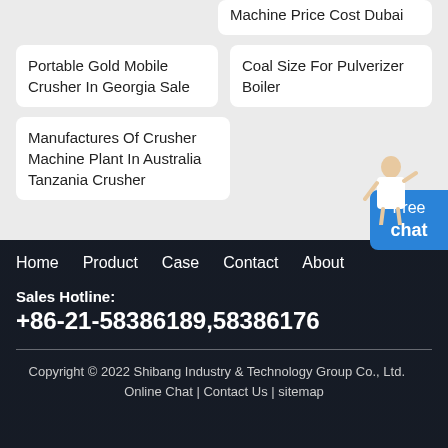Machine Price Cost Dubai
Portable Gold Mobile Crusher In Georgia Sale
Coal Size For Pulverizer Boiler
Manufactures Of Crusher Machine Plant In Australia Tanzania Crusher
[Figure (other): Person figure / illustration of a woman]
Free chat
Home   Product   Case   Contact   About   Sales Hotline: +86-21-58386189,58386176   Copyright © 2022 Shibang Industry & Technology Group Co., Ltd.   Online Chat | Contact Us | sitemap
[Figure (other): QR code for Shibang Industry & Technology Group]